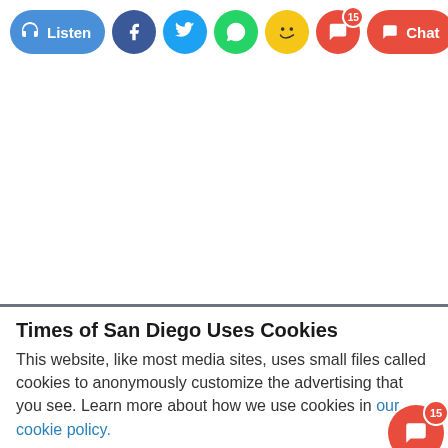[Figure (screenshot): Toolbar with Listen button, social media share icons (Facebook, Twitter, WhatsApp, emoji), and Chat button with badge showing 15]
[Figure (other): White advertisement area placeholder]
Times of San Diego Uses Cookies
This website, like most media sites, uses small files called cookies to anonymously customize the advertising that you see. Learn more about how we use cookies in our cookie policy.